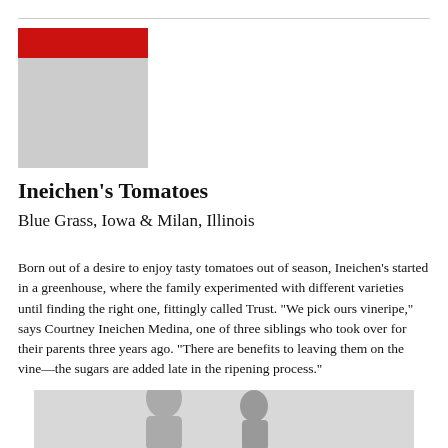[Figure (logo): Red rectangle above gray rectangle forming a logo block in the upper left]
Ineichen's Tomatoes
Blue Grass, Iowa & Milan, Illinois
Born out of a desire to enjoy tasty tomatoes out of season, Ineichen's started in a greenhouse, where the family experimented with different varieties until finding the right one, fittingly called Trust. “We pick ours vineripe,” says Courtney Ineichen Medina, one of three siblings who took over for their parents three years ago. “There are benefits to leaving them on the vine—the sugars are added late in the ripening process.”
[Figure (photo): Black and white photograph of people, partially visible at bottom of page]